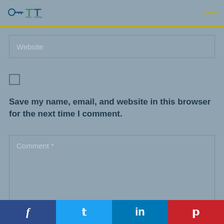Logo and navigation header
Website
[Figure (other): Unchecked checkbox]
Save my name, email, and website in this browser for the next time I comment.
Comment *
Facebook, Twitter, LinkedIn, Pinterest social share buttons